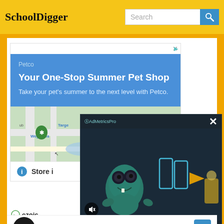SchoolDigger | Search
[Figure (screenshot): Petco advertisement card with blue background. Shows 'Petco' brand name, headline 'Your One-Stop Summer Pet Shop', and subtext 'Take your pet's summer to the next level with Petco.' Below is a Google Maps snippet showing Wegmans area, and a 'Store i...' info button.]
[Figure (screenshot): Video overlay popup from AdMetricsPro showing animated cartoon character (green monster) on dark background with blue neon play button icons, mute button, and X close button.]
ezoic
[Figure (screenshot): Bottom section showing a black circle logo icon, a checkmark with 'In-store shopping' text, and a blue direction/navigation button icon.]